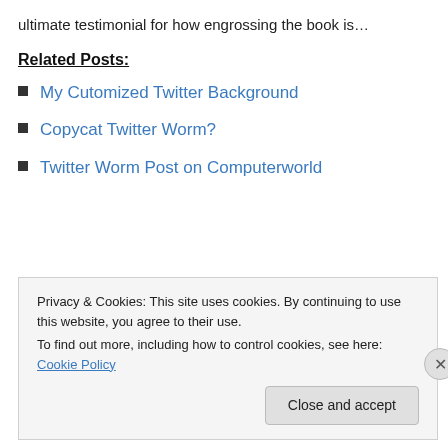ultimate testimonial for how engrossing the book is…
Related Posts:
My Cutomized Twitter Background
Copycat Twitter Worm?
Twitter Worm Post on Computerworld
Privacy & Cookies: This site uses cookies. By continuing to use this website, you agree to their use.
To find out more, including how to control cookies, see here: Cookie Policy